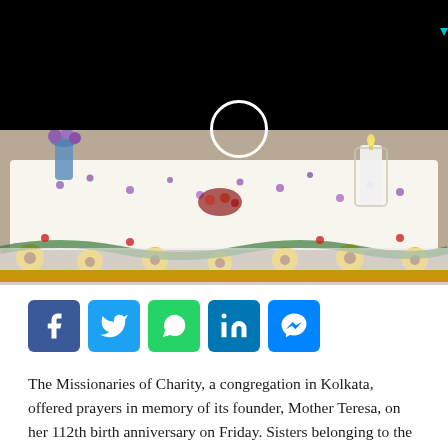[Figure (photo): A flower-covered tomb or memorial table adorned with white and purple flowers, sunflowers along the sides, a lit candle, and a vase with purple flowers. The top portion of the image is dark/black with a camera UI overlay including a circle and a small cyan triangle indicator.]
[Figure (infographic): Social media sharing buttons: Facebook (blue), Twitter (light blue), WhatsApp (green), LinkedIn (blue), Messenger (blue)]
The Missionaries of Charity, a congregation in Kolkata, offered prayers in memory of its founder, Mother Teresa, on her 112th birth anniversary on Friday. Sisters belonging to the Mother's House sang hymns and offered prayers in remembrance of the saint and at the same…